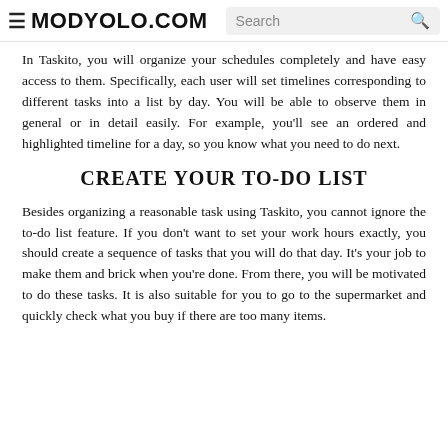≡ MODYOLO.COM  Search 🔍
In Taskito, you will organize your schedules completely and have easy access to them. Specifically, each user will set timelines corresponding to different tasks into a list by day. You will be able to observe them in general or in detail easily. For example, you'll see an ordered and highlighted timeline for a day, so you know what you need to do next.
CREATE YOUR TO-DO LIST
Besides organizing a reasonable task using Taskito, you cannot ignore the to-do list feature. If you don't want to set your work hours exactly, you should create a sequence of tasks that you will do that day. It's your job to make them and brick when you're done. From there, you will be motivated to do these tasks. It is also suitable for you to go to the supermarket and quickly check what you buy if there are too many items.